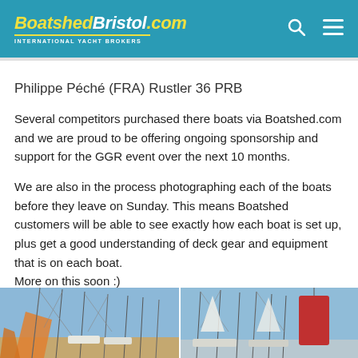BoatshedBristol.com — INTERNATIONAL YACHT BROKERS
Philippe Péché (FRA) Rustler 36 PRB
Several competitors purchased there boats via Boatshed.com and we are proud to be offering ongoing sponsorship and support for the GGR event over the next 10 months.
We are also in the process photographing each of the boats before they leave on Sunday. This means Boatshed customers will be able to see exactly how each boat is set up, plus get a good understanding of deck gear and equipment that is on each boat.
More on this soon :)
[Figure (photo): Two side-by-side photos of sailing boats with masts visible against a blue sky, docked at a marina. The right photo shows a red sail or cover on one of the boats.]